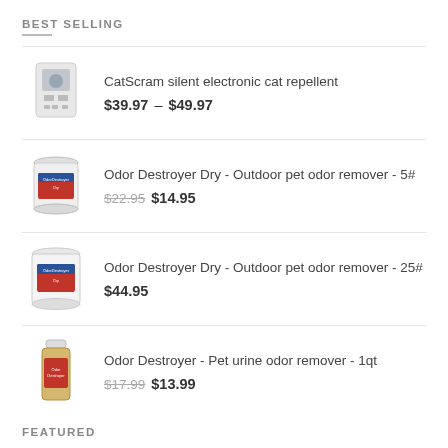BEST SELLING
CatScram silent electronic cat repellent $39.97 – $49.97
Odor Destroyer Dry - Outdoor pet odor remover - 5# $22.95 $14.95
Odor Destroyer Dry - Outdoor pet odor remover - 25# $44.95
Odor Destroyer - Pet urine odor remover - 1qt $17.99 $13.99
FEATURED